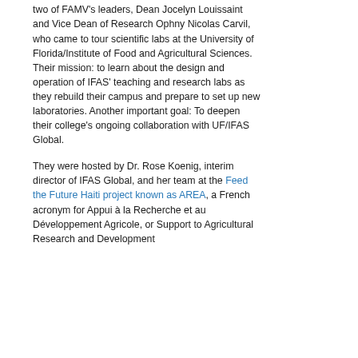two of FAMV's leaders, Dean Jocelyn Louissaint and Vice Dean of Research Ophny Nicolas Carvil, who came to tour scientific labs at the University of Florida/Institute of Food and Agricultural Sciences. Their mission: to learn about the design and operation of IFAS' teaching and research labs as they rebuild their campus and prepare to set up new laboratories. Another important goal: To deepen their college's ongoing collaboration with UF/IFAS Global.
They were hosted by Dr. Rose Koenig, interim director of IFAS Global, and her team at the Feed the Future Haiti project known as AREA, a French acronym for Appui à la Recherche et au Développement Agricole, or Support to Agricultural Research and Development